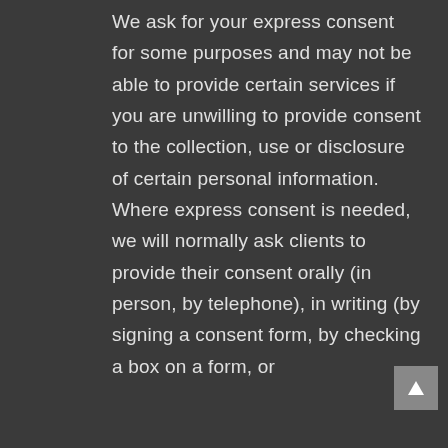We ask for your express consent for some purposes and may not be able to provide certain services if you are unwilling to provide consent to the collection, use or disclosure of certain personal information. Where express consent is needed, we will normally ask clients to provide their consent orally (in person, by telephone), in writing (by signing a consent form, by checking a box on a form, or